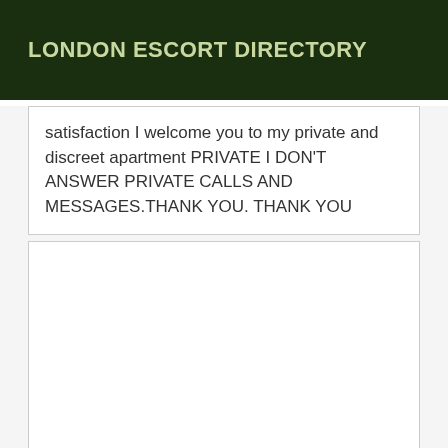LONDON ESCORT DIRECTORY
satisfaction I welcome you to my private and discreet apartment PRIVATE I DON'T ANSWER PRIVATE CALLS AND MESSAGES.THANK YOU. THANK YOU
[Figure (photo): Empty white image box placeholder]